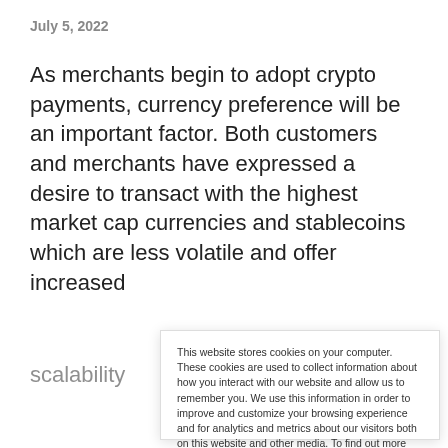July 5, 2022
As merchants begin to adopt crypto payments, currency preference will be an important factor. Both customers and merchants have expressed a desire to transact with the highest market cap currencies and stablecoins which are less volatile and offer increased scalability
This website stores cookies on your computer. These cookies are used to collect information about how you interact with our website and allow us to remember you. We use this information in order to improve and customize your browsing experience and for analytics and metrics about our visitors both on this website and other media. To find out more about the cookies we use, see our Privacy Policy. California residents have the right to direct us not to sell their personal information to third parties by filing an Opt-Out Request: Do Not Sell My Personal Info.